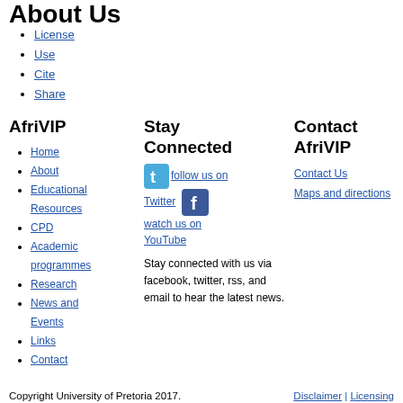About Us
License
Use
Cite
Share
AfriVIP
Home
About
Educational Resources
CPD
Academic programmes
Research
News and Events
Links
Contact
Stay Connected
follow us on Twitter watch us on YouTube
Stay connected with us via facebook, twitter, rss, and email to hear the latest news.
Contact AfriVIP
Contact Us Maps and directions
Copyright University of Pretoria 2017.  Disclaimer | Licensing